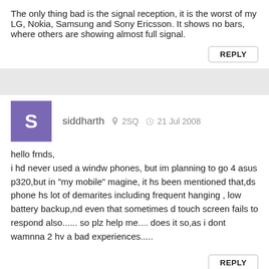The only thing bad is the signal reception, it is the worst of my LG, Nokia, Samsung and Sony Ericsson. It shows no bars, where others are showing almost full signal.
REPLY
siddharth  2SQ  21 Jul 2008
hello frnds,
i hd never used a windw phones, but im planning to go 4 asus p320,but in "my mobile" magine, it hs been mentioned that,ds phone hs lot of demarites including frequent hanging , low battery backup,nd even that sometimes d touch screen fails to respond also...... so plz help me.... does it so,as i dont wamnna 2 hv a bad experiences.....
REPLY